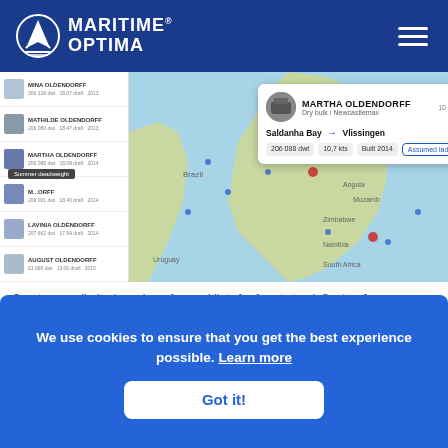[Figure (screenshot): Maritime Optima website screenshot showing navy blue header with Maritime Optima logo and hamburger menu, a vessel list panel on the left, a ship tracking map in the center-right, and a popup tooltip for MARTHA OLDENDORFF vessel showing route from Saldanha Bay to Vlissingen, 206 088 dwt, 10.7 kts, Built 2014, Assumed laden. A 'Summer deadweight' tooltip is also visible.]
Create an unlimited number of vessel lists for free to track fleets of vessels. After you have created the lists, you get iden vessels will be highlighted on the map.
We use cookies to ensure that you get the best experience possible. Learn more
Got it!